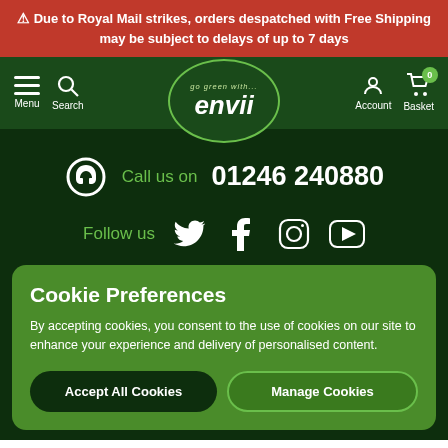⚠ Due to Royal Mail strikes, orders despatched with Free Shipping may be subject to delays of up to 7 days
Menu | Search | go green with... envii | Account | Basket 0
Call us on 01246 240880
Follow us [Twitter] [Facebook] [Instagram] [YouTube]
Cookie Preferences
By accepting cookies, you consent to the use of cookies on our site to enhance your experience and delivery of personalised content.
Accept All Cookies | Manage Cookies